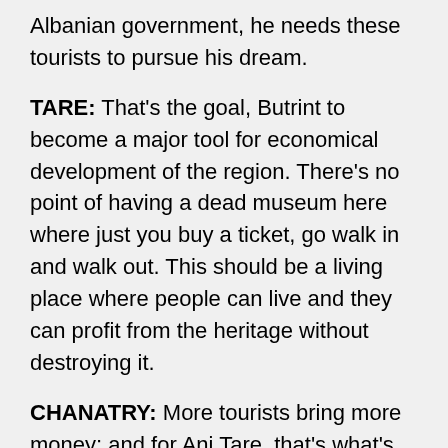Albanian government, he needs these tourists to pursue his dream.
TARE: That's the goal, Butrint to become a major tool for economical development of the region. There's no point of having a dead museum here where just you buy a ticket, go walk in and walk out. This should be a living place where people can live and they can profit from the heritage without destroying it.
CHANATRY: More tourists bring more money; and for Ani Tare, that's what's needed to develop the infrastructure for sustainable tourism, to serve this ancient site and the present day inhabitants of the region. For Living on Earth, I'm David Chanatry in Butrint, Albania.
CURWOOD: As always, we welcome your comments on our program. But today we want to encourage you to take advantage of the opportunity to stop in front of an open